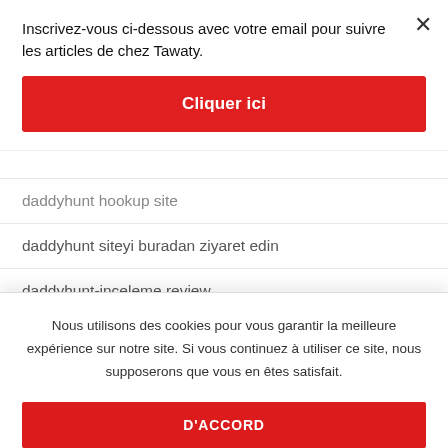Inscrivez-vous ci-dessous avec votre email pour suivre les articles de chez Tawaty.
Cliquer ici
daddyhunt hookup site
daddyhunt siteyi buradan ziyaret edin
daddyhunt-inceleme review
DAF visitors
dallas escort
Nous utilisons des cookies pour vous garantir la meilleure expérience sur notre site. Si vous continuez à utiliser ce site, nous supposerons que vous en êtes satisfait.
D'ACCORD
Date me meetme site